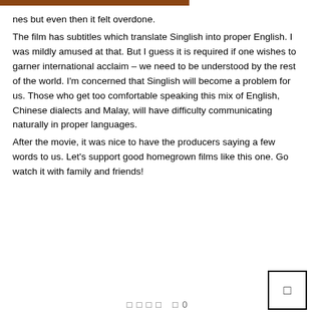…nes but even then it felt overdone.
The film has subtitles which translate Singlish into proper English. I was mildly amused at that. But I guess it is required if one wishes to garner international acclaim – we need to be understood by the rest of the world. I'm concerned that Singlish will become a problem for us. Those who get too comfortable speaking this mix of English, Chinese dialects and Malay, will have difficulty communicating naturally in proper languages.
After the movie, it was nice to have the producers saying a few words to us. Let's support good homegrown films like this one. Go watch it with family and friends!
□ □ □ □  □ 0